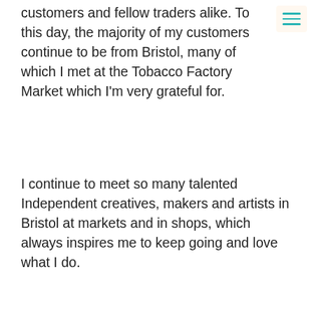customers and fellow traders alike. To this day, the majority of my customers continue to be from Bristol, many of which I met at the Tobacco Factory Market which I'm very grateful for.
I continue to meet so many talented Independent creatives, makers and artists in Bristol at markets and in shops, which always inspires me to keep going and love what I do.
Where do you source your materials and how do you choose them?
I have always used a select few UK suppliers for all of my ingredients and packaging. I use